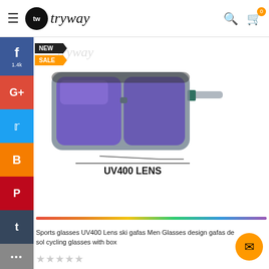tryway — navigation header with search and cart
[Figure (screenshot): E-commerce product page for sports sunglasses with UV400 lens, showing social media sidebar (Facebook 1.4k, Google+, Twitter, Blogger, Pinterest, Tumblr), product image of grey-frame sunglasses with blue mirrored lenses and teal arms, UV400 LENS label, color bar, and product title: Sports glasses UV400 Lens ski gafas Men Glasses design gafas de sol cycling glasses with box]
Sports glasses UV400 Lens ski gafas Men Glasses design gafas de sol cycling glasses with box